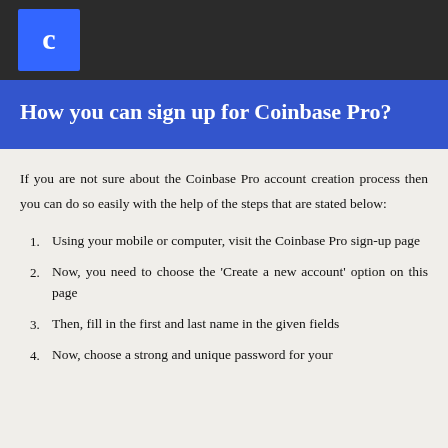Coinbase logo
How you can sign up for Coinbase Pro?
If you are not sure about the Coinbase Pro account creation process then you can do so easily with the help of the steps that are stated below:
Using your mobile or computer, visit the Coinbase Pro sign-up page
Now, you need to choose the 'Create a new account' option on this page
Then, fill in the first and last name in the given fields
Now, choose a strong and unique password for your